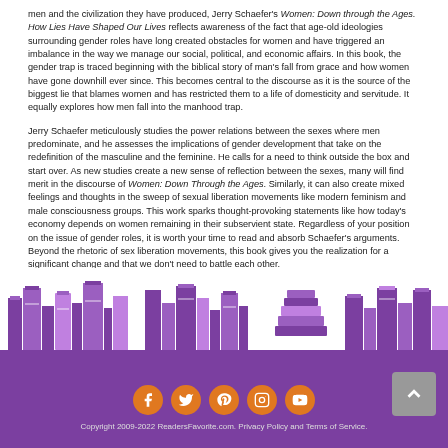men and the civilization they have produced, Jerry Schaefer's Women: Down through the Ages. How Lies Have Shaped Our Lives reflects awareness of the fact that age-old ideologies surrounding gender roles have long created obstacles for women and have triggered an imbalance in the way we manage our social, political, and economic affairs. In this book, the gender trap is traced beginning with the biblical story of man's fall from grace and how women have gone downhill ever since. This becomes central to the discourse as it is the source of the biggest lie that blames women and has restricted them to a life of domesticity and servitude. It equally explores how men fall into the manhood trap.
Jerry Schaefer meticulously studies the power relations between the sexes where men predominate, and he assesses the implications of gender development that take on the redefinition of the masculine and the feminine. He calls for a need to think outside the box and start over. As new studies create a new sense of reflection between the sexes, many will find merit in the discourse of Women: Down Through the Ages. Similarly, it can also create mixed feelings and thoughts in the sweep of sexual liberation movements like modern feminism and male consciousness groups. This work sparks thought-provoking statements like how today's economy depends on women remaining in their subservient state. Regardless of your position on the issue of gender roles, it is worth your time to read and absorb Schaefer's arguments. Beyond the rhetoric of sex liberation movements, this book gives you the realization for a significant change and that we don't need to battle each other.
[Figure (illustration): Purple illustrated silhouette of bookshelves with stacked books, used as a decorative footer banner.]
[Figure (infographic): Footer with purple background showing five social media icons (Facebook, Twitter, Pinterest, Instagram, YouTube) as orange circles, copyright text, and a back-to-top button.]
Copyright 2009-2022 ReadersFavorite.com. Privacy Policy and Terms of Service.